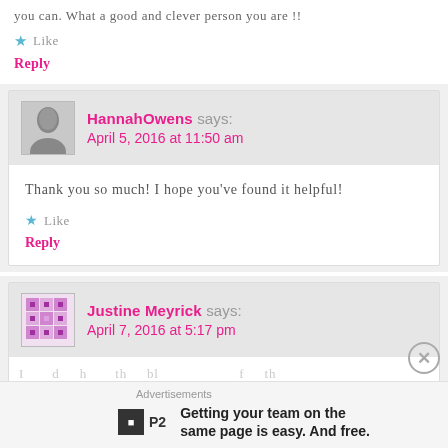you can. What a good and clever person you are !!
★ Like
Reply
HannahOwens says:
April 5, 2016 at 11:50 am
Thank you so much! I hope you've found it helpful!
★ Like
Reply
Justine Meyrick says:
April 7, 2016 at 5:17 pm
Advertisements
Getting your team on the same page is easy. And free.